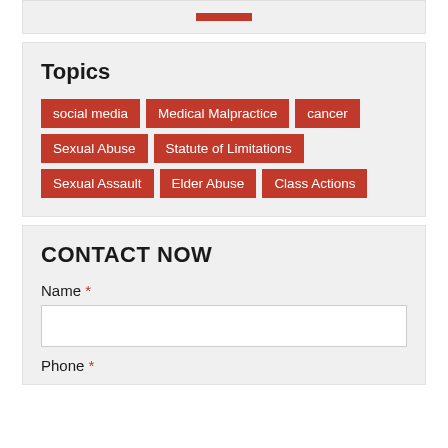Topics
social media
Medical Malpractice
cancer
Sexual Abuse
Statute of Limitations
Sexual Assault
Elder Abuse
Class Actions
CONTACT NOW
Name *
Phone *